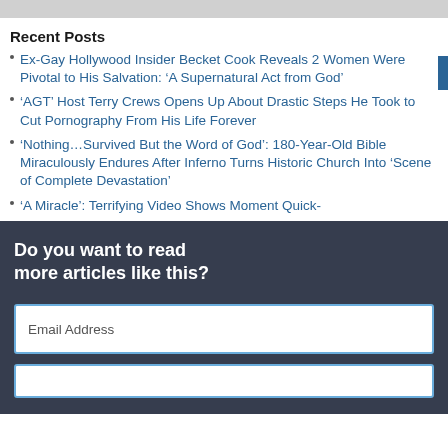Recent Posts
Ex-Gay Hollywood Insider Becket Cook Reveals 2 Women Were Pivotal to His Salvation: ‘A Supernatural Act from God’
‘AGT’ Host Terry Crews Opens Up About Drastic Steps He Took to Cut Pornography From His Life Forever
‘Nothing…Survived But the Word of God’: 180-Year-Old Bible Miraculously Endures After Inferno Turns Historic Church Into ‘Scene of Complete Devastation’
‘A Miracle’: Terrifying Video Shows Moment Quick-
Do you want to read more articles like this?
Email Address